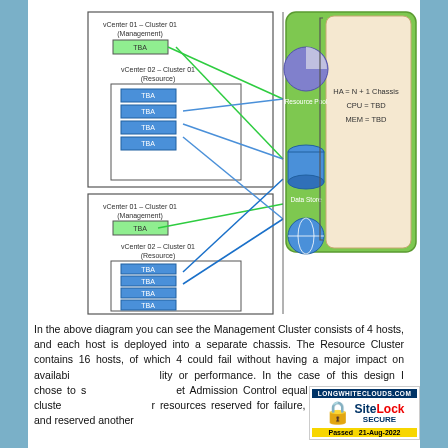[Figure (engineering-diagram): Architecture diagram showing two sets of vCenter clusters (Management and Resource) on the left connected by colored lines (blue, green) to a resource pool panel on the right containing Resource Pool, Data Store, and Port Group icons, with HA=N+1 Chassis, CPU=TBD, MEM=TBD labels.]
In the above diagram you can see the Management Cluster consists of 4 hosts, and each host is deployed into a separate chassis. The Resource Cluster contains 16 hosts, of which 4 could fail without having a major impact on availability or performance. In the case of this design I chose to set Admission Control equal to a percentage of cluster resources reserved for failure, equal to two hosts, and reserved another